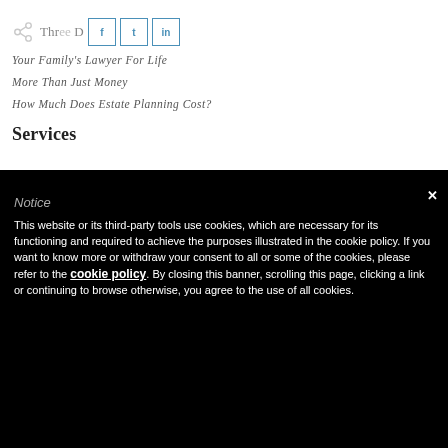[Figure (screenshot): Share icon and social media buttons (Facebook, Twitter, LinkedIn) with partial page title text]
Your Family's Lawyer For Life
More Than Just Money
How Much Does Estate Planning Cost?
Services
Notice
This website or its third-party tools use cookies, which are necessary for its functioning and required to achieve the purposes illustrated in the cookie policy. If you want to know more or withdraw your consent to all or some of the cookies, please refer to the cookie policy. By closing this banner, scrolling this page, clicking a link or continuing to browse otherwise, you agree to the use of all cookies.